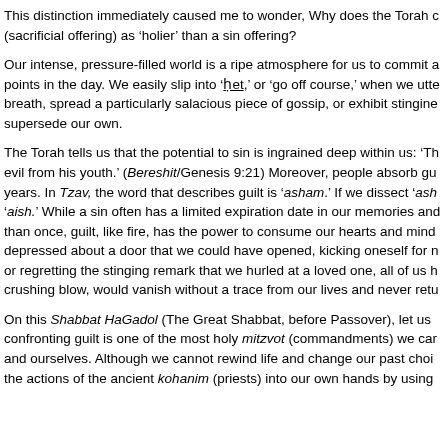This distinction immediately caused me to wonder, Why does the Torah c (sacrificial offering) as 'holier' than a sin offering?
Our intense, pressure-filled world is a ripe atmosphere for us to commit a points in the day. We easily slip into 'ḥet,' or 'go off course,' when we utte breath, spread a particularly salacious piece of gossip, or exhibit stingine supersede our own.
The Torah tells us that the potential to sin is ingrained deep within us: 'Th evil from his youth.' (Bereshit/Genesis 9:21) Moreover, people absorb gu years. In Tzav, the word that describes guilt is 'asham.' If we dissect 'ash 'aish.' While a sin often has a limited expiration date in our memories and than once, guilt, like fire, has the power to consume our hearts and mind depressed about a door that we could have opened, kicking oneself for n or regretting the stinging remark that we hurled at a loved one, all of us h crushing blow, would vanish without a trace from our lives and never retu
On this Shabbat HaGadol (The Great Shabbat, before Passover), let us confronting guilt is one of the most holy mitzvot (commandments) we car and ourselves. Although we cannot rewind life and change our past choi the actions of the ancient kohanim (priests) into our own hands by using